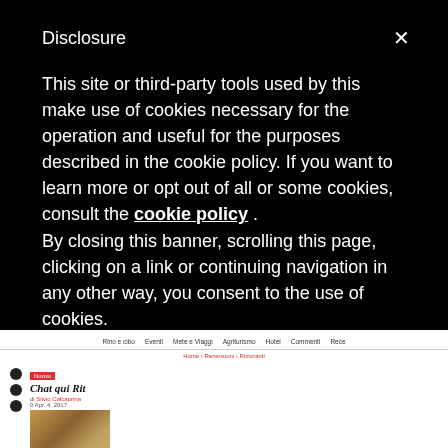Disclosure
This site or third-party tools used by this make use of cookies necessary for the operation and useful for the purposes described in the cookie policy. If you want to learn more or opt out of all or some cookies, consult the cookie policy . By closing this banner, scrolling this page, clicking on a link or continuing navigation in any other way, you consent to the use of cookies.
Rino e cibo  Eventi  Mete e Viaggi  Agriturismo  Hotel  Commenti  Rece
Home > Recensioni > Ristoranti
Nuovo
Chat qui Rit
di Silvio Calcaprina
0 Apr. 4, 2017
[Figure (photo): Food photo showing a folded crepe or thin pastry on a dark plate]
Il ristorante-bistrot che Giovanni Mozzato ha rimesso in sesto